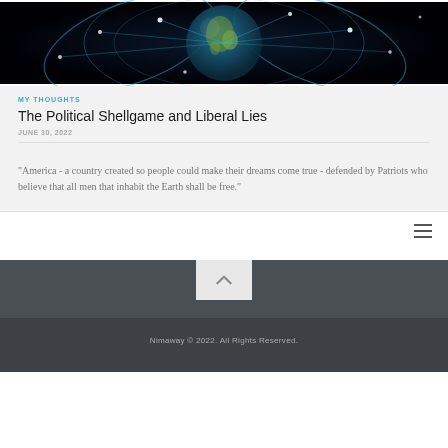[Figure (illustration): Globe with glowing blue network connections on dark background]
MY THOUGHTS
The Political Shellgame and Liberal Lies
JUNE 30, 2022
"America - a country created so people could make their dreams come true - defended by Patriots who believe that all men that inhabit the Earth shall be free."
Nimaway © 2022. All Rights Reserved.